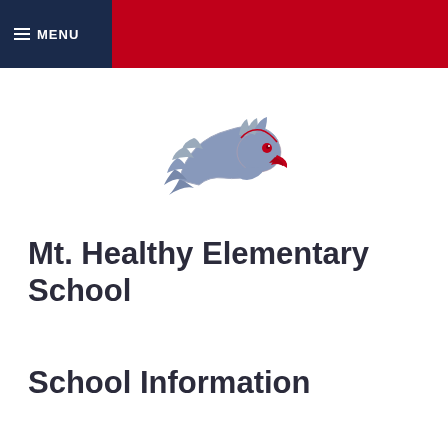≡ MENU
[Figure (logo): Eagle mascot logo — a stylized eagle head in blue-gray and red colors, facing right]
Mt. Healthy Elementary School
School Information